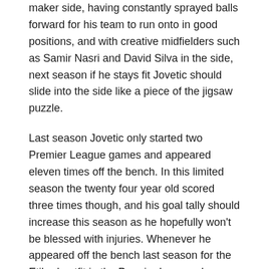maker side, having constantly sprayed balls forward for his team to run onto in good positions, and with creative midfielders such as Samir Nasri and David Silva in the side, next season if he stays fit Jovetic should slide into the side like a piece of the jigsaw puzzle.
Last season Jovetic only started two Premier League games and appeared eleven times off the bench. In this limited season the twenty four year old scored three times though, and his goal tally should increase this season as he hopefully won't be blessed with injuries. Whenever he appeared off the bench last season for the Etihad outfit in the Premier League, he added an unmatched energy like that of an unbroken stallion, and with Sergio Aguero's fitness in doubt, Dzeko's inconsistency and Alvaro Negredo's injury, Jovetic may be crucial at the start of the season and should start against Newcastle when City start their title defence.